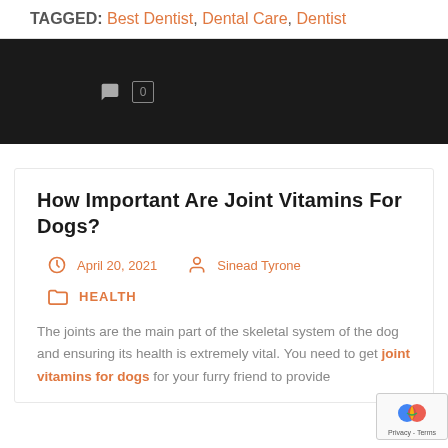TAGGED: Best Dentist, Dental Care, Dentist
[Figure (screenshot): Dark black banner with a speech bubble comment icon and a '0' count in a small outlined rectangle]
How Important Are Joint Vitamins For Dogs?
April 20, 2021   Sinead Tyrone
HEALTH
The joints are the main part of the skeletal system of the dog and ensuring its health is extremely vital. You need to get joint vitamins for dogs for your furry friend to provide